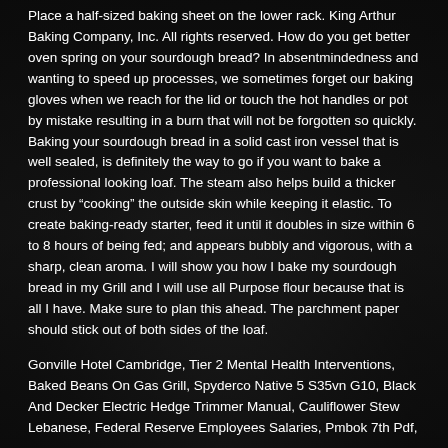Place a half-sized baking sheet on the lower rack. King Arthur Baking Company, Inc. All rights reserved. How do you get better oven spring on your sourdough bread? In absentmindedness and wanting to speed up processes, we sometimes forget our baking gloves when we reach for the lid or touch the hot handles or pot by mistake resulting in a burn that will not be forgotten so quickly. Baking your sourdough bread in a solid cast iron vessel that is well sealed, is definitely the way to go if you want to bake a professional looking loaf. The steam also helps build a thicker crust by “cooking” the outside skin while keeping it elastic. To create baking-ready starter, feed it until it doubles in size within 6 to 8 hours of being fed; and appears bubbly and vigorous, with a sharp, clean aroma. I will show you how I bake my sourdough bread in my Grill and I will use all Purpose flour because that is all I have. Make sure to plan this ahead. The parchment paper should stick out of both sides of the loaf.
Gonville Hotel Cambridge, Tier 2 Mental Health Interventions, Baked Beans On Gas Grill, Spyderco Native 5 S35vn G10, Black And Decker Electric Hedge Trimmer Manual, Cauliflower Stew Lebanese, Federal Reserve Employees Salaries, Pmbok 7th Pdf,
ABOUT THE AUTHOR